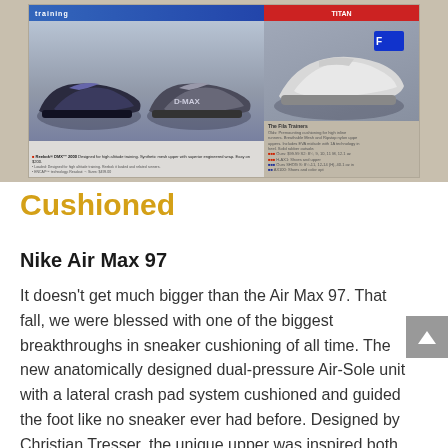[Figure (photo): Scan of a sneaker catalog page showing athletic training shoes including Reebok and Nike models, with product descriptions and pricing. The catalog shows multiple shoe images against a grey/blue background with product text below.]
Cushioned
Nike Air Max 97
It doesn't get much bigger than the Air Max 97. That fall, we were blessed with one of the biggest breakthroughs in sneaker cushioning of all time. The new anatomically designed dual-pressure Air-Sole unit with a lateral crash pad system cushioned and guided the foot like no sneaker ever had before. Designed by Christian Tresser, the unique upper was inspired both by water dropping into a pond, as well as the metallic finish of